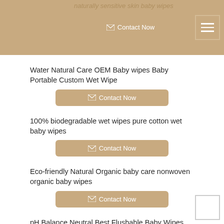naturally sensitive skin baby wipes
Water Natural Care OEM Baby wipes Baby Portable Custom Wet Wipe
Contact Now
100% biodegradable wet wipes pure cotton wet baby wipes
Contact Now
Eco-friendly Natural Organic baby care nonwoven organic baby wipes
Contact Now
pH Balance Neutral Best Flushable Baby Wipes
Contact Now
Alcohol Free Private Label Biodegradable Organic